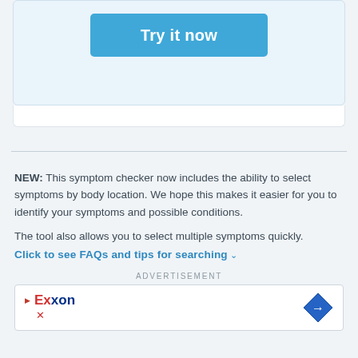[Figure (other): Blue 'Try it now' button inside a light blue card]
NEW: This symptom checker now includes the ability to select symptoms by body location. We hope this makes it easier for you to identify your symptoms and possible conditions.
The tool also allows you to select multiple symptoms quickly.
Click to see FAQs and tips for searching
ADVERTISEMENT
[Figure (other): Exxon advertisement banner with navigation arrow icon]